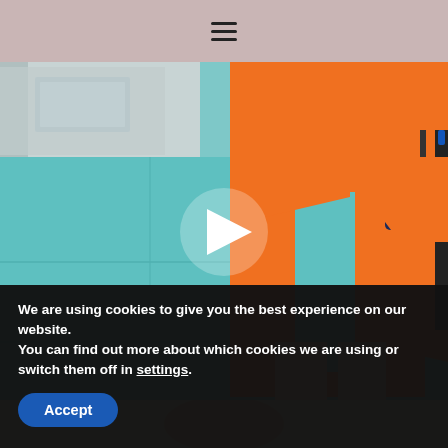[Figure (screenshot): Navigation bar with hamburger menu icon on a dusty rose/mauve background]
[Figure (photo): Person wearing orange outfit standing against a teal/turquoise wall, holding a dark blue Marc Jacobs Snapshot camera bag. A white play button triangle is overlaid in the center of the image.]
We are using cookies to give you the best experience on our website.
You can find out more about which cookies we are using or switch them off in settings.